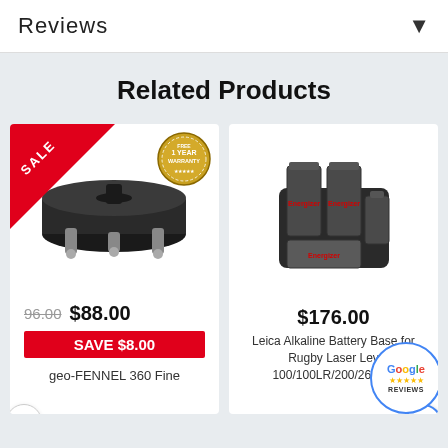Reviews
Related Products
[Figure (photo): geo-FENNEL 360 Fine product image with SALE badge and FREE 1 YEAR WARRANTY badge]
$96.00  $88.00  SAVE $8.00  geo-FENNEL 360 Fine
[Figure (photo): Leica Alkaline Battery Base for Rugby Laser Level 100/100LR/200/260/270 product image]
$176.00  Leica Alkaline Battery Base for Rugby Laser Level 100/100LR/200/260/27...